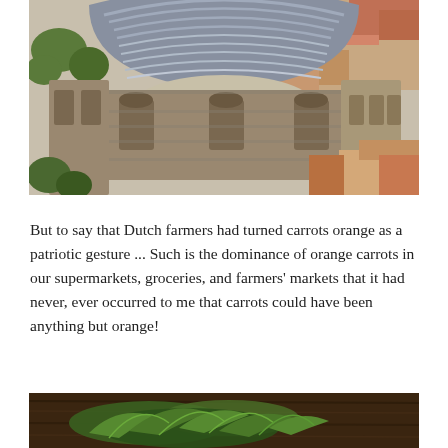[Figure (photo): Aerial view of an ancient Roman theatre/amphitheatre with curved stone seating rows, a large stage wall, and surrounding old town buildings with terracotta rooftops.]
But to say that Dutch farmers had turned carrots orange as a patriotic gesture ... Such is the dominance of orange carrots in our supermarkets, groceries, and farmers' markets that it had never, ever occurred to me that carrots could have been anything but orange!
[Figure (photo): Close-up photo of green carrot tops/leaves on a dark wooden surface.]